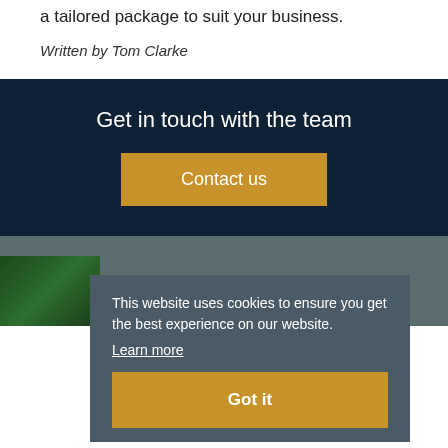a tailored package to suit your business.
Written by Tom Clarke
Get in touch with the team
Contact us
This website uses cookies to ensure you get the best experience on our website.
Learn more
Further reading
Got it
[Figure (photo): Green foliage photo at bottom left]